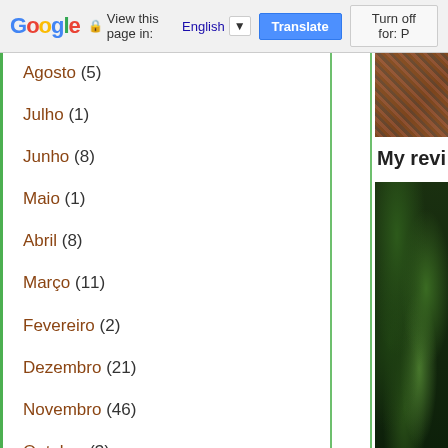Google | View this page in: English [▼] | Translate | Turn off for: P
Agosto (5)
Julho (1)
Junho (8)
Maio (1)
Abril (8)
Março (11)
Fevereiro (2)
Dezembro (21)
Novembro (46)
Outubro (3)
Setembro (3)
Agosto (14)
[Figure (photo): Small cropped nature/landscape photo at top right]
My revi
[Figure (photo): Nature/forest photo at bottom right, dark green foliage]